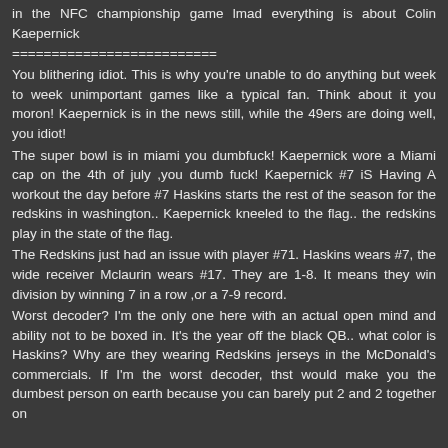in the NFC championship game lmad everything is about Colin Kaepernick
==========================
You blithering idiot. This is why you're unable to do anything but week to week unimportant games like a typical fan. Think about it you moron! Kaepernick is in the news still, while the 49ers are doing well, you idiot!
The super bowl is in miami you dumbfuck! Kaepernick wore a Miami cap on the 4th of july ,you dumb fuck! Kaepernick #7 iS Having A workout the day before #7 Haskins starts the rest of the season for the redskins in washington.. Kaepernick kneeled to the flag.. the redskins play in the state of the flag.
The Redskins just had an issue with player #71. Haskins wears #7, the wide receiver Mclaurin wears #17. They are 1-8. It means they win division by winning 7 in a row ,or a 7-9 record.
Worst decoder? I'm the only one here with an actual open mind and ability not to be boxed in. It's the year off the black QB.. what color is Haskins? Why are they wearing Redskins jerseys in the McDonald's commercials. If I'm the worst decoder, thst would make you the dumbest person on earth because you can barely put 2 and 2 together on